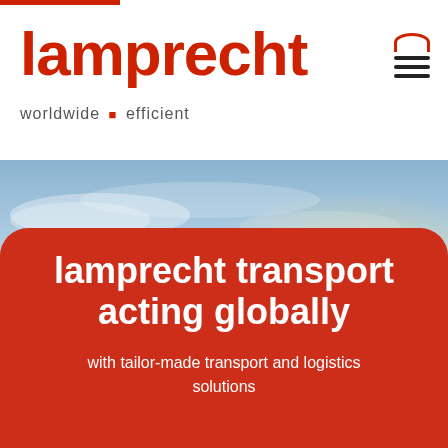[Figure (logo): Lamprecht logo with red text 'lamprecht' and tagline 'worldwide + efficient' with Swiss cross symbol]
[Figure (photo): Sky background photo with warm golden light on horizon, blue sky with clouds]
lamprecht transport acting globally
with tailor-made transport and logistics solutions